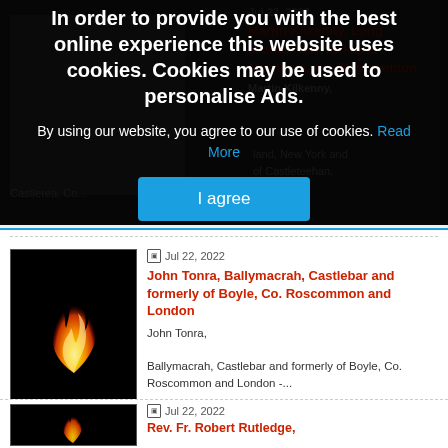In order to provide you with the best online experience this website uses cookies. Cookies may be used to personalise Ads.
By using our website, you agree to our use of cookies. Read More
I agree
Jul 22, 2022
John Tonra, Ballymacrah, Castlebar and formerly of Boyle, Co. Roscommon and London
John Tonra,

Ballymacrah, Castlebar and formerly of Boyle, Co. Roscommon and London -...
Jul 22, 2022
Rev. Fr. Robert Rutledge,